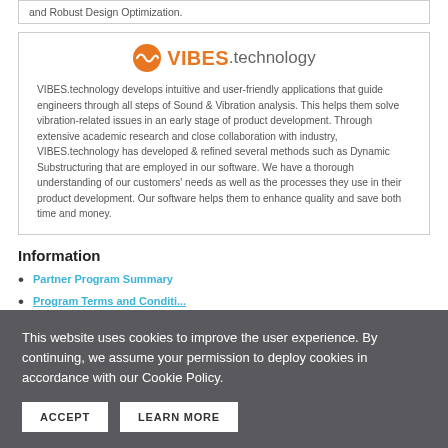and Robust Design Optimization.
[Figure (logo): VIBES.technology logo with orange waveform/checkmark icon and orange VIBES text followed by grey .technology text]
VIBES.technology develops intuitive and user-friendly applications that guide engineers through all steps of Sound & Vibration analysis. This helps them solve vibration-related issues in an early stage of product development. Through extensive academic research and close collaboration with industry, VIBES.technology has developed & refined several methods such as Dynamic Substructuring that are employed in our software. We have a thorough understanding of our customers' needs as well as the processes they use in their product development. Our software helps them to enhance quality and save both time and money.
Information
Partner Program Summary
Program Terms and Conditions
This website uses cookies to improve the user experience. By continuing, we assume your permission to deploy cookies in accordance with our Cookie Policy.